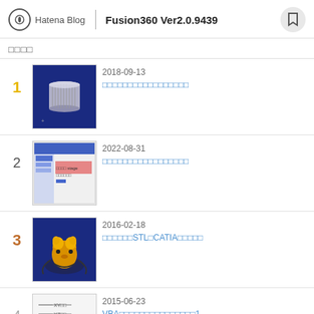Hatena Blog | Fusion360 Ver2.0.9439
□□□□
2018-09-13
□□□□□□□□□□□□□□□□□
2022-08-31
□□□□□□□□□□□□□□□□□
2016-02-18
□□□□□□STL□CATIA□□□□□
2015-06-23
VBA□□□□□□□□□□□□□□□1
2017-11-17